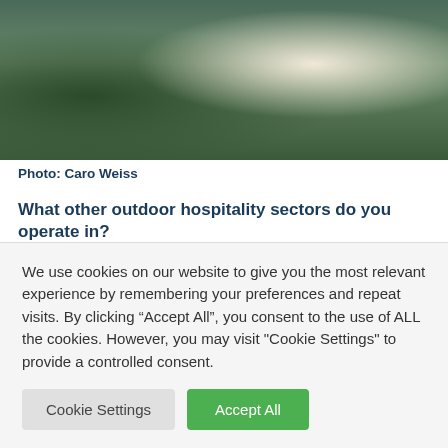[Figure (photo): Wedding couple photo, partially visible at top of page]
Photo: Caro Weiss
What other outdoor hospitality sectors do you operate in?
Apart from weddings, we offer dinners and corporate events. Our Full Moon Dinners have been very successful since their launch in 2015. We work with a number of top chefs and Hamish, who spent 20 years in the wine trade, pairs each course with wonderful wines. It is a fantastic experience with
We use cookies on our website to give you the most relevant experience by remembering your preferences and repeat visits. By clicking “Accept All”, you consent to the use of ALL the cookies. However, you may visit "Cookie Settings" to provide a controlled consent.